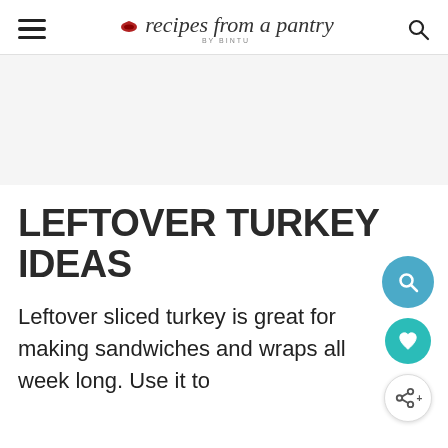recipes from a pantry BY BINTU
[Figure (other): Gray advertisement placeholder banner area]
LEFTOVER TURKEY IDEAS
Leftover sliced turkey is great for making sandwiches and wraps all week long. Use it to